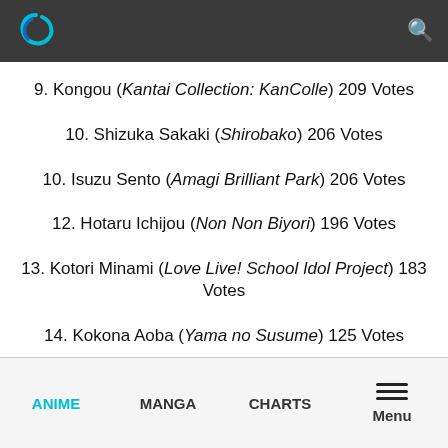Header bar with logo and search icon
9. Kongou (Kantai Collection: KanColle) 209 Votes
10. Shizuka Sakaki (Shirobako) 206 Votes
10. Isuzu Sento (Amagi Brilliant Park) 206 Votes
12. Hotaru Ichijou (Non Non Biyori) 196 Votes
13. Kotori Minami (Love Live! School Idol Project) 183 Votes
14. Kokona Aoba (Yama no Susume) 125 Votes
ANIME  MANGA  CHARTS  Menu